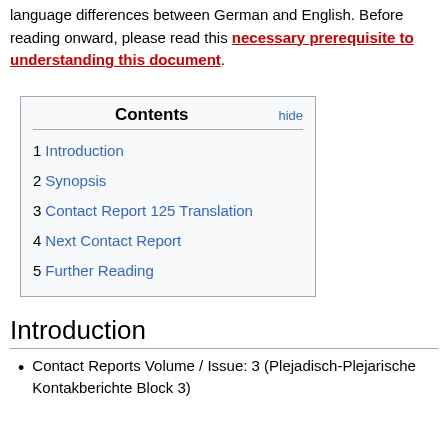language differences between German and English. Before reading onward, please read this necessary prerequisite to understanding this document.
| 1 Introduction |
| 2 Synopsis |
| 3 Contact Report 125 Translation |
| 4 Next Contact Report |
| 5 Further Reading |
Introduction
Contact Reports Volume / Issue: 3 (Plejadisch-Plejarische Kontakberichte Block 3)